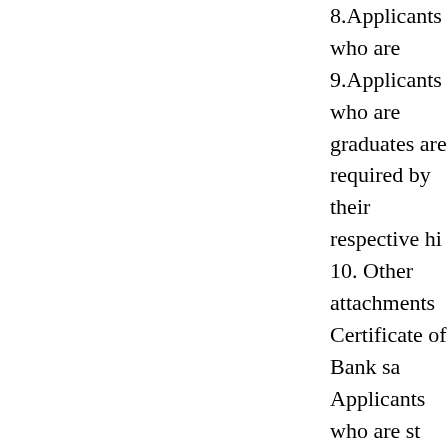8.Applicants who are
9.Applicants who are graduates are required by their respective hi
10. Other attachments Certificate of Bank sa Applicants who are st Certificate of award e
Application Remark
Applicants are require should be in Chinese documents and certifi
Please scan the origin are not acceptable. Co